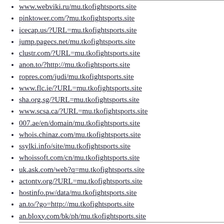www.webviki.ru/mu.tkofightsports.site
pinktower.com/?mu.tkofightsports.site
icecap.us/?URL=mu.tkofightsports.site
jump.pagecs.net/mu.tkofightsports.site
clustr.com/?URL=mu.tkofightsports.site
anon.to/?http://mu.tkofightsports.site
ropres.com/judi/mu.tkofightsports.site
www.flc.ie/?URL=mu.tkofightsports.site
sha.org.sg/?URL=mu.tkofightsports.site
www.scsa.ca/?URL=mu.tkofightsports.site
007.ae/en/domain/mu.tkofightsports.site
whois.chinaz.com/mu.tkofightsports.site
ssylki.info/site/mu.tkofightsports.site
whoissoft.com/cn/mu.tkofightsports.site
uk.ask.com/web?q=mu.tkofightsports.site
actontv.org/?URL=mu.tkofightsports.site
hostinfo.pw/data/mu.tkofightsports.site
an.to/?go=http://mu.tkofightsports.site
an.bloxy.com/bk/ph/mu.tkofightsports.site